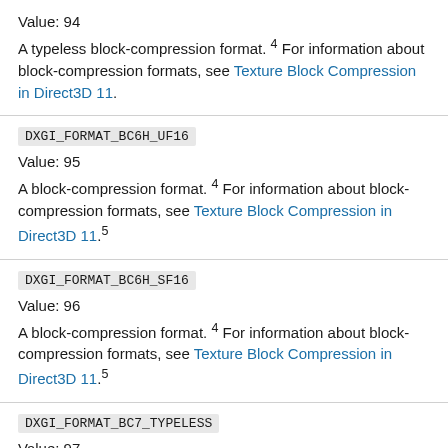Value: 94
A typeless block-compression format. 4 For information about block-compression formats, see Texture Block Compression in Direct3D 11.
DXGI_FORMAT_BC6H_UF16
Value: 95
A block-compression format. 4 For information about block-compression formats, see Texture Block Compression in Direct3D 11.5
DXGI_FORMAT_BC6H_SF16
Value: 96
A block-compression format. 4 For information about block-compression formats, see Texture Block Compression in Direct3D 11.5
DXGI_FORMAT_BC7_TYPELESS
Value: 97
A typeless block-compression format. 4 For information about block-compression formats, see Texture Block Compression in Direct3D 11.